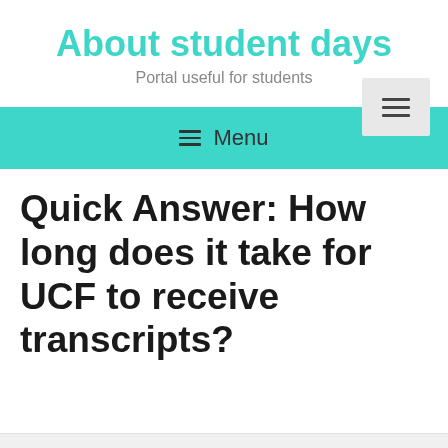About student days
Portal useful for students
Quick Answer: How long does it take for UCF to receive transcripts?